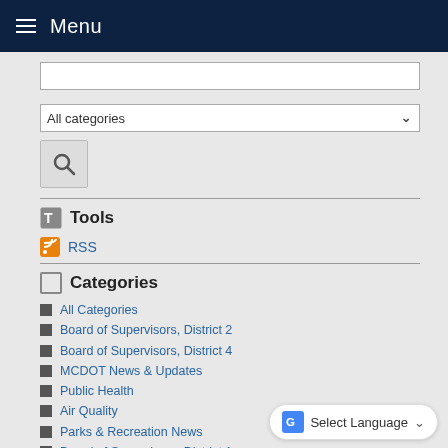Menu
Tools
RSS
Categories
All Categories
Board of Supervisors, District 2
Board of Supervisors, District 4
MCDOT News & Updates
Public Health
Air Quality
Parks & Recreation News
Board of Supervisors, District 1
Office of Communications